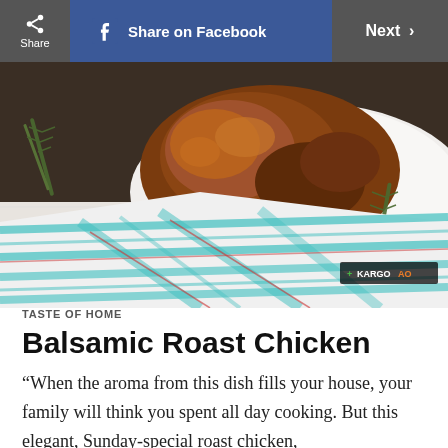Share | Share on Facebook | Next >
[Figure (photo): Roasted chicken on a white plate garnished with rosemary sprigs, placed on a blue and white plaid kitchen towel on a white wooden surface. KARGOAO badge in lower right corner.]
TASTE OF HOME
Balsamic Roast Chicken
“When the aroma from this dish fills your house, your family will think you spent all day cooking. But this elegant, Sunday-special roast chicken,